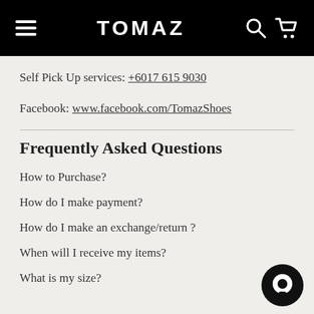TOMAZ
Self Pick Up services: +6017 615 9030
Facebook: www.facebook.com/TomazShoes
Frequently Asked Questions
How to Purchase?
How do I make payment?
How do I make an exchange/return ?
When will I receive my items?
What is my size?